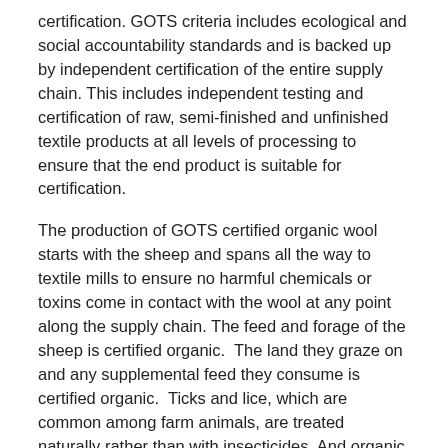certification. GOTS criteria includes ecological and social accountability standards and is backed up by independent certification of the entire supply chain. This includes independent testing and certification of raw, semi-finished and unfinished textile products at all levels of processing to ensure that the end product is suitable for certification.
The production of GOTS certified organic wool starts with the sheep and spans all the way to textile mills to ensure no harmful chemicals or toxins come in contact with the wool at any point along the supply chain. The feed and forage of the sheep is certified organic.  The land they graze on and any supplemental feed they consume is certified organic.  Ticks and lice, which are common among farm animals, are treated naturally rather than with insecticides. And organic livestock producers are required to ensure they do not exceed the natural carrying capacity of the land on which their animals graze.  These are just some basic starting points of raising organic sheep in addition to regulations regarding animal welfare and working conditions for farmers and textile mill workers.
In addition to the health benefits of buying certified organic wool,